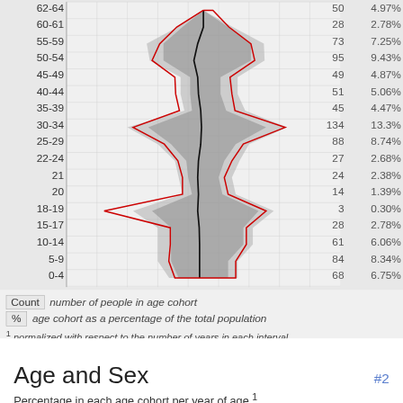[Figure (continuous-plot): Horizontal population pyramid chart showing age cohorts on the y-axis (0-4 to 62-64) with a black center line and red outline showing distribution. Gray shading shows distribution width. Count and percentage values listed on the right side for each age group.]
Count — number of people in age cohort
% — age cohort as a percentage of the total population
1 normalized with respect to the number of years in each interval
Age and Sex
Percentage in each age cohort per year of age.1